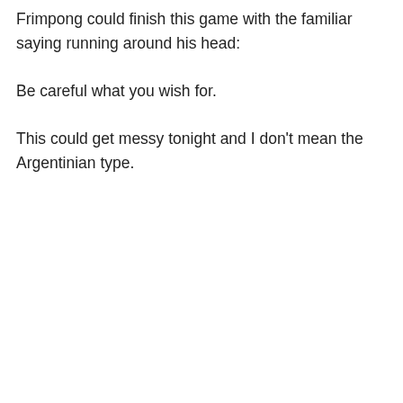Frimpong could finish this game with the familiar saying running around his head:

Be careful what you wish for.

This could get messy tonight and I don't mean the Argentinian type.
LB on October 29, 2013 at 2:10 pm
I am going to the game, I will be home at 11, it
Privacy & Cookies: This site uses cookies. By continuing to use this website, you agree to their use.
To find out more, including how to control cookies, see here: Cookie Policy
Close and accept